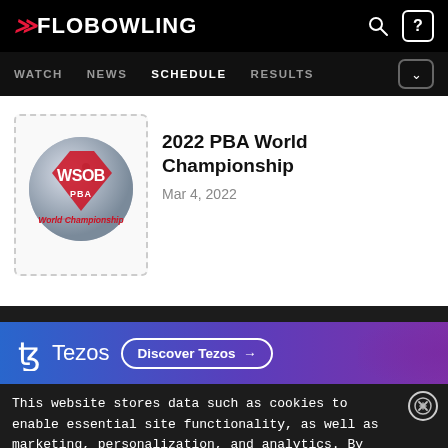FloBowling — WATCH  NEWS  SCHEDULE  RESULTS
2022 PBA World Championship
Mar 4, 2022
[Figure (logo): WSOB PBA World Championship logo — bowling ball with WSOB text and 'World Championship' in red]
[Figure (infographic): Tezos advertisement banner with 'Discover Tezos →' button on blue-to-purple gradient]
This website stores data such as cookies to enable essential site functionality, as well as marketing, personalization, and analytics. By remaining on this website you indicate your consent. Data Storage Policy